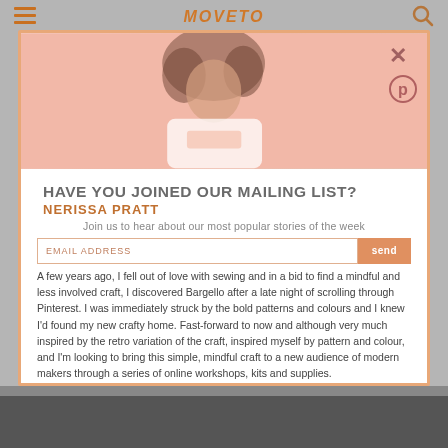MOVETO
[Figure (photo): Banner image of a woman with curly hair wearing a white top against a pink background, with close (x) and Pinterest icons overlay]
HAVE YOU JOINED OUR MAILING LIST?
NERISSA PRATT
Join us to hear about our most popular stories of the week
EMAIL ADDRESS
send
A few years ago, I fell out of love with sewing and in a bid to find a mindful and less involved craft, I discovered Bargello after a late night of scrolling through Pinterest. I was immediately struck by the bold patterns and colours and I knew I'd found my new crafty home. Fast-forward to now and although very much inspired by the retro variation of the craft, inspired myself by pattern and colour, and I'm looking to bring this simple, mindful craft to a new audience of modern makers through a series of online workshops, kits and supplies.
By signing up to our newsletter, you agree to our GDPR friendly Privacy Policies